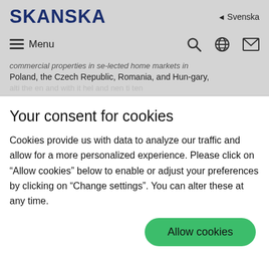SKANSKA
Svenska
Menu
commercial properties in se-lected home markets in Poland, the Czech Republic, Romania, and Hun-gary,
Your consent for cookies
Cookies provide us with data to analyze our traffic and allow for a more personalized experience. Please click on “Allow cookies” below to enable or adjust your preferences by clicking on “Change settings”. You can alter these at any time.
Allow cookies